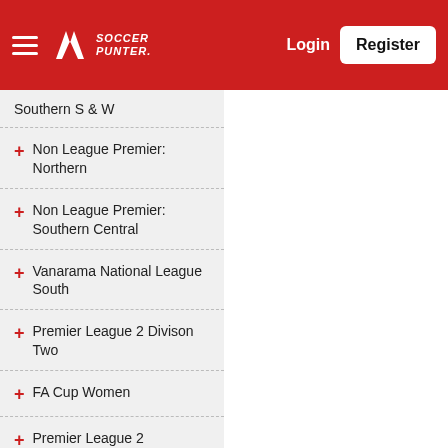Soccer Punter - Login - Register
Southern S & W
+ Non League Premier: Northern
+ Non League Premier: Southern Central
+ Vanarama National League South
+ Premier League 2 Divison Two
+ FA Cup Women
+ Premier League 2